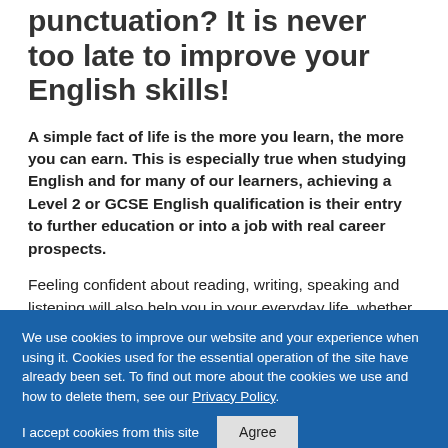punctuation? It is never too late to improve your English skills!
A simple fact of life is the more you learn, the more you can earn. This is especially true when studying English and for many of our learners, achieving a Level 2 or GCSE English qualification is their entry to further education or into a job with real career prospects.
Feeling confident about reading, writing, speaking and listening will also help you in your everyday life, whether it is sending texts, emails, writing letters and reports, reading important documents or talking to
We use cookies to improve our website and your experience when using it. Cookies used for the essential operation of the site have already been set. To find out more about the cookies we use and how to delete them, see our Privacy Policy.
I accept cookies from this site  Agree